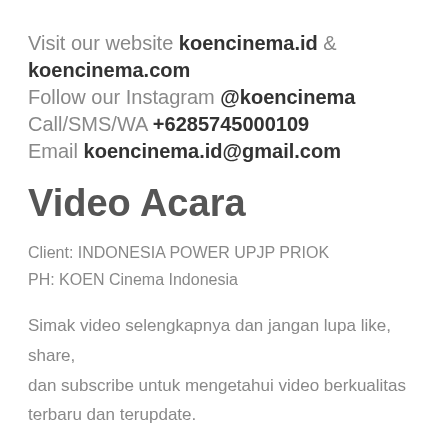Visit our website koencinema.id & koencinema.com Follow our Instagram @koencinema Call/SMS/WA +6285745000109 Email koencinema.id@gmail.com
Video Acara
Client: INDONESIA POWER UPJP PRIOK
PH: KOEN Cinema Indonesia
Simak video selengkapnya dan jangan lupa like, share, dan subscribe untuk mengetahui video berkualitas terbaru dan terupdate.